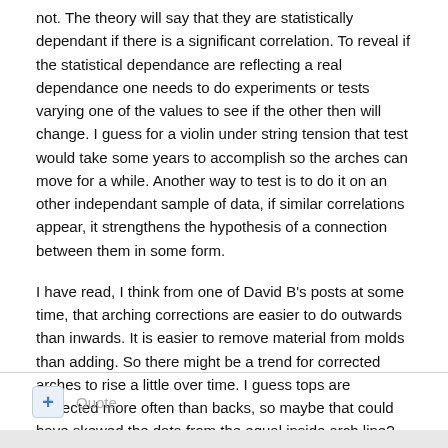not. The theory will say that they are statistically dependant if there is a significant correlation. To reveal if the statistical dependance are reflecting a real dependance one needs to do experiments or tests varying one of the values to see if the other then will change. I guess for a violin under string tension that test would take some years to accomplish so the arches can move for a while. Another way to test is to do it on an other independant sample of data, if similar correlations appear, it strengthens the hypothesis of a connection between them in some form.
I have read, I think from one of David B's posts at some time, that arching corrections are easier to do outwards than inwards. It is easier to remove material from molds than adding. So there might be a trend for corrected arches to rise a little over time. I guess tops are corrected more often than backs, so maybe that could have skewed the data from the equal inside arch line?
Edited March 3, 2012 by Anders Buen